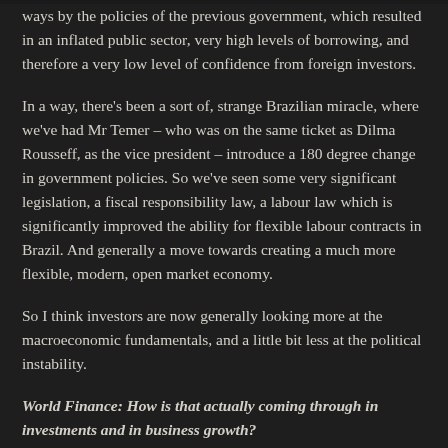ways by the policies of the previous government, which resulted in an inflated public sector, very high levels of borrowing, and therefore a very low level of confidence from foreign investors.
In a way, there's been a sort of, strange Brazilian miracle, where we've had Mr Temer – who was on the same ticket as Dilma Rousseff, as the vice president – introduce a 180 degree change in government policies. So we've seen some very significant legislation, a fiscal responsibility law, a labour law which is significantly improved the ability for flexible labour contracts in Brazil. And generally a move towards creating a much more flexible, modern, open market economy.
So I think investors are now generally looking more at the macroeconomic fundamentals, and a little bit less at the political instability.
World Finance: How is that actually coming through in investments and in business growth?
Huw Jenkins: You know it's interesting. I can say we certainly haven't yet seen it in business growth. So I think one of the bi...